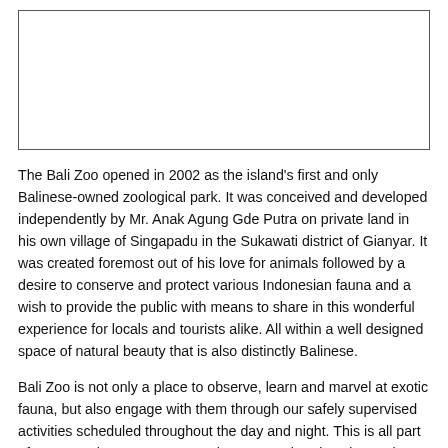[Figure (photo): Image placeholder box (white rectangle with border, likely a photo of Bali Zoo)]
The Bali Zoo opened in 2002 as the island's first and only Balinese-owned zoological park.  It was conceived and developed independently by Mr. Anak Agung Gde Putra on private land in his own village of Singapadu in the Sukawati district of Gianyar.  It was created foremost out of his love for animals followed by a desire to conserve and protect various Indonesian fauna and a wish to provide the public with means to share in this wonderful experience for locals and tourists alike.  All within a well designed space of natural beauty that is also distinctly Balinese.
Bali Zoo is not only a place to observe, learn and marvel at exotic fauna, but also engage with them through our safely supervised activities scheduled throughout the day and night. This is all part of our commitment to conservation, research, education and recreation as The Island of The Gods premier zoological park. As part of our incomparable zoo experience, we also have two distinct